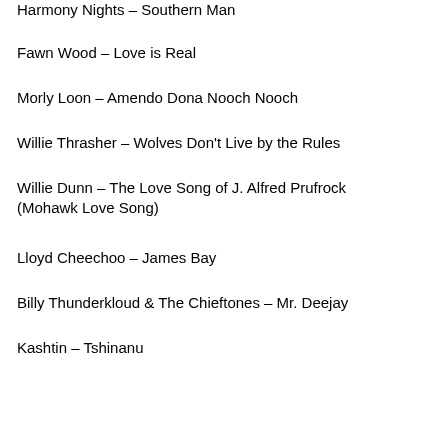Harmony Nights – Southern Man
Fawn Wood – Love is Real
Morly Loon – Amendo Dona Nooch Nooch
Willie Thrasher – Wolves Don't Live by the Rules
Willie Dunn – The Love Song of J. Alfred Prufrock (Mohawk Love Song)
Lloyd Cheechoo – James Bay
Billy Thunderkloud & The Chieftones – Mr. Deejay
Kashtin –  Tshinanu